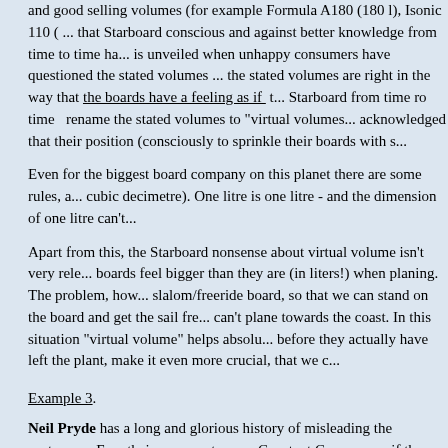and good selling volumes (for example Formula A180 (180 l), Isonic 110 (... that Starboard conscious and against better knowledge from time to time ha... is unveiled when unhappy consumers have questioned the stated volumes ... the stated volumes are right in the way that the boards have a feeling as if t... Starboard from time ro time  rename the stated volumes to "virtual volumes acknowledged that their position (consciously to sprinkle their boards with s...
Even for the biggest board company on this planet there are some rules, a... cubic decimetre). One litre is one litre - and the dimension of one litre can't...
Apart from this, the Starboard nonsense about virtual volume isn't very rele... boards feel bigger than they are (in liters!) when planing. The problem, how... slalom/freeride board, so that we can stand on the board and get the sail fre... can't plane towards the coast. In this situation "virtual volume" helps absolu... before they actually have left the plant, make it even more crucial, that we c...
Example 3.
Neil Pryde has a long and glorious history of misleading the costumers. Fo... their race masts were Constant Curve, even if they were (are!) much closer... systematized the fraud, as they in fact published some figures for the mast... fact supported Neil Pryde in that their race masts were Constant Curve. Ho... Neil Pryde had so to speak calculated backwards to come up with some co... kind of aggravating circumstances. To fabricate some "test figures" only ma... (the figures - by Jove! - are still present at the Pryde homepage: See for ins... http://archive.neilpryde.com/product/matrix_2000/mx_set.html or http://archive.neilpryde.com/product/matrix01/mast/mastspec_fset.html ).
But Neil Pryde now no longer only cheats with the specifications of the be...